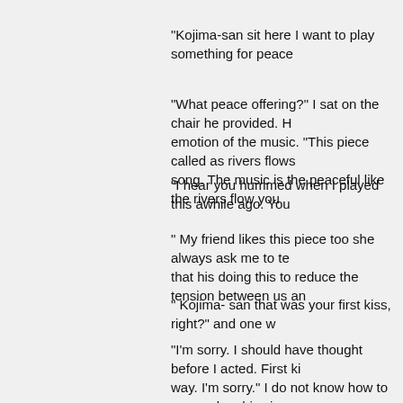“Kojima-san sit here I want to play something for peace
“What peace offering?” I sat on the chair he provided. H emotion of the music. “This piece called as rivers flows song. The music is the peaceful like the rivers flow you
“I hear you hummed when I played this awhile ago. You
“ My friend likes this piece too she always ask me to te that his doing this to reduce the tension between us an
“ Kojima- san that was your first kiss, right?” and one w
“I’m sorry. I should have thought before I acted. First ki way. I’m sorry.” I do not know how to respond on his si
“Please forget it as your first kiss you deserve having it
“Why are you apologizing? I never had a kiss with anyb